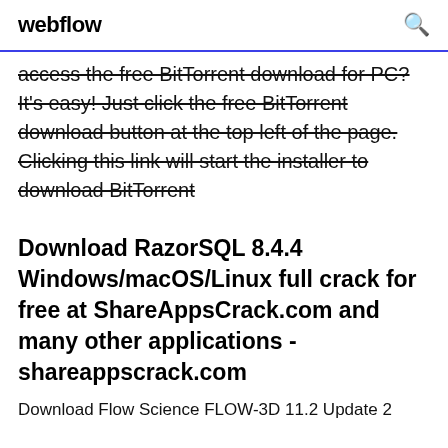webflow
access the free BitTorrent download for PC? It's easy! Just click the free BitTorrent download button at the top left of the page. Clicking this link will start the installer to download BitTorrent
Download RazorSQL 8.4.4 Windows/macOS/Linux full crack for free at ShareAppsCrack.com and many other applications - shareappscrack.com
Download Flow Science FLOW-3D 11.2 Update 2